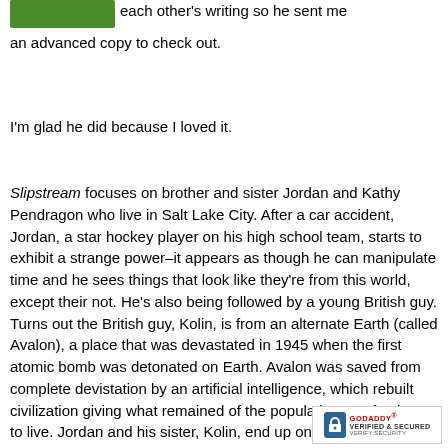[Figure (photo): Small green image/logo in top left corner]
each other's writing so he sent me an advanced copy to check out.
I'm glad he did because I loved it.
Slipstream focuses on brother and sister Jordan and Kathy Pendragon who live in Salt Lake City. After a car accident, Jordan, a star hockey player on his high school team, starts to exhibit a strange power–it appears as though he can manipulate time and he sees things that look like they're from this world, except their not. He's also being followed by a young British guy. Turns out the British guy, Kolin, is from an alternate Earth (called Avalon), a place that was devastated in 1945 when the first atomic bomb was detonated on Earth. Avalon was saved from complete devistation by an artificial intelligence, which rebuilt civilization giving what remained of the population a safe place to live. Jordan and his sister, Kolin, end up on Avalon where Jordan finds out it's his
[Figure (logo): GoDaddy Verified & Secured badge in bottom right corner]